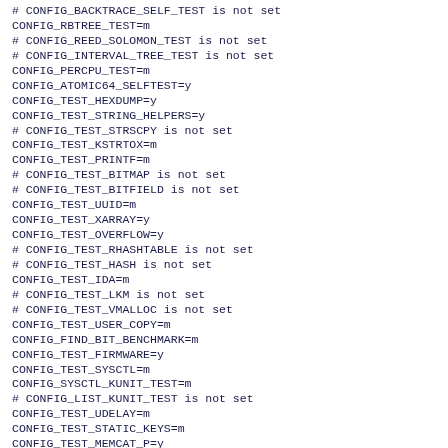# CONFIG_BACKTRACE_SELF_TEST is not set
CONFIG_RBTREE_TEST=m
# CONFIG_REED_SOLOMON_TEST is not set
# CONFIG_INTERVAL_TREE_TEST is not set
CONFIG_PERCPU_TEST=m
CONFIG_ATOMIC64_SELFTEST=y
CONFIG_TEST_HEXDUMP=y
CONFIG_TEST_STRING_HELPERS=y
# CONFIG_TEST_STRSCPY is not set
CONFIG_TEST_KSTRTOX=m
CONFIG_TEST_PRINTF=m
# CONFIG_TEST_BITMAP is not set
# CONFIG_TEST_BITFIELD is not set
CONFIG_TEST_UUID=m
CONFIG_TEST_XARRAY=y
CONFIG_TEST_OVERFLOW=y
# CONFIG_TEST_RHASHTABLE is not set
# CONFIG_TEST_HASH is not set
CONFIG_TEST_IDA=m
# CONFIG_TEST_LKM is not set
# CONFIG_TEST_VMALLOC is not set
CONFIG_TEST_USER_COPY=m
CONFIG_FIND_BIT_BENCHMARK=m
CONFIG_TEST_FIRMWARE=y
CONFIG_TEST_SYSCTL=m
CONFIG_SYSCTL_KUNIT_TEST=m
# CONFIG_LIST_KUNIT_TEST is not set
CONFIG_TEST_UDELAY=m
CONFIG_TEST_STATIC_KEYS=m
CONFIG_TEST_MEMCAT_P=y